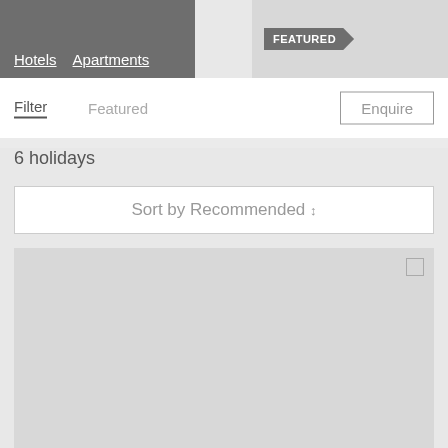[Figure (screenshot): Navigation tabs showing Hotels and Apartments links on dark grey background]
[Figure (screenshot): Featured badge/ribbon on a light grey image placeholder]
Filter
Featured
Enquire
6 holidays
Sort by Recommended ↕
[Figure (screenshot): Grey card placeholder with small icon in top-right corner]